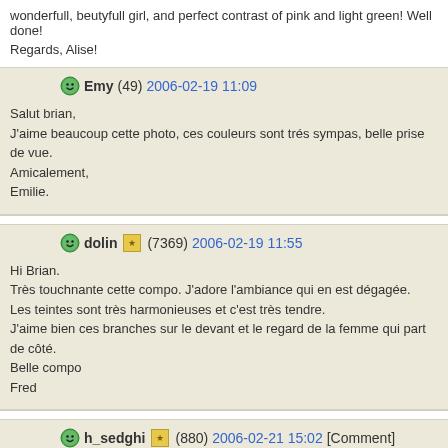wonderfull, beutyfull girl, and perfect contrast of pink and light green! Well done!
Regards, Alise!
Emy (49) 2006-02-19 11:09
Salut brian,
J'aime beaucoup cette photo, ces couleurs sont trés sympas, belle prise de vue.
Amicalement,
Emilie.
dolin (7369) 2006-02-19 11:55
Hi Brian.
Très touchnante cette compo. J'adore l'ambiance qui en est dégagée.
Les teintes sont très harmonieuses et c'est très tendre.
J'aime bien ces branches sur le devant et le regard de la femme qui part de côté.
Belle compo
Fred
h_sedghi (880) 2006-02-21 15:02 [Comment]
Show Comment ▶